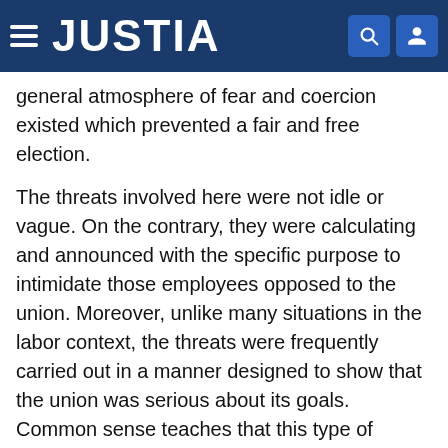JUSTIA
general atmosphere of fear and coercion existed which prevented a fair and free election.
The threats involved here were not idle or vague. On the contrary, they were calculating and announced with the specific purpose to intimidate those employees opposed to the union. Moreover, unlike many situations in the labor context, the threats were frequently carried out in a manner designed to show that the union was serious about its goals. Common sense teaches that this type of violence and coercion does influence individuals in a subtle, yet highly effective way. Just because the threats and violence were directed at only a few, or even a single employee, does not dissipate the coercive nature of the conduct. Indeed, because the misconduct was highly selective and involved a very small unit, its coercive nature may have been intensified without much